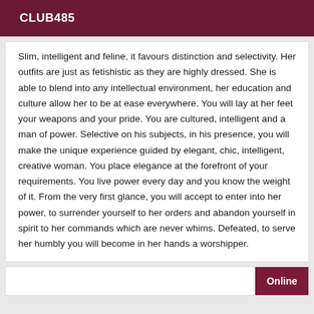CLUB485
Slim, intelligent and feline, it favours distinction and selectivity. Her outfits are just as fetishistic as they are highly dressed. She is able to blend into any intellectual environment, her education and culture allow her to be at ease everywhere. You will lay at her feet your weapons and your pride. You are cultured, intelligent and a man of power. Selective on his subjects, in his presence, you will make the unique experience guided by elegant, chic, intelligent, creative woman. You place elegance at the forefront of your requirements. You live power every day and you know the weight of it. From the very first glance, you will accept to enter into her power, to surrender yourself to her orders and abandon yourself in spirit to her commands which are never whims. Defeated, to serve her humbly you will become in her hands a worshipper.
Online